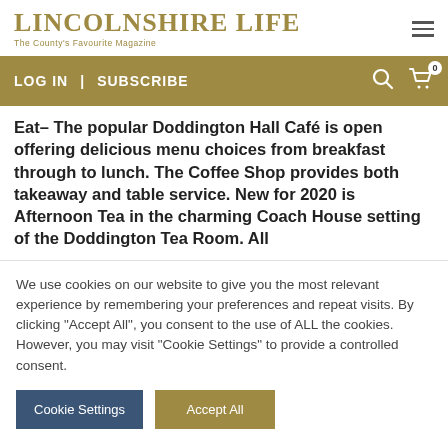LINCOLNSHIRE LIFE — The County's Favourite Magazine
LOG IN | SUBSCRIBE
Eat– The popular Doddington Hall Café is open offering delicious menu choices from breakfast through to lunch. The Coffee Shop provides both takeaway and table service. New for 2020 is Afternoon Tea in the charming Coach House setting of the Doddington Tea Room. All
We use cookies on our website to give you the most relevant experience by remembering your preferences and repeat visits. By clicking "Accept All", you consent to the use of ALL the cookies. However, you may visit "Cookie Settings" to provide a controlled consent.